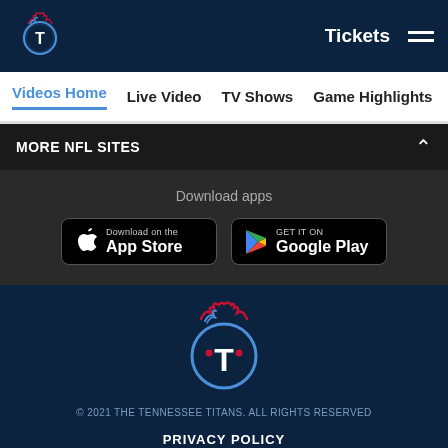[Figure (logo): Tennessee Titans logo in top navigation bar (small)]
Tickets
Videos Home  Live Video  TV Shows  Game Highlights  Practice
MORE NFL SITES
Download apps
[Figure (screenshot): Download on the App Store button]
[Figure (screenshot): Get it on Google Play button]
[Figure (logo): Tennessee Titans logo in footer]
© 2021 THE TENNESSEE TITANS.  ALL RIGHTS RESERVED
PRIVACY POLICY
TERMS OF USE
ACCESSIBILITY